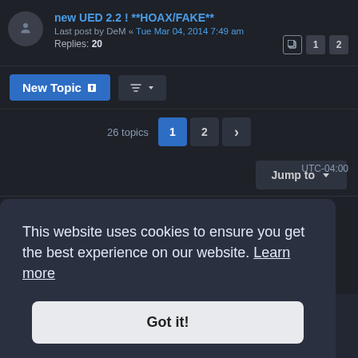new UED 2.2 ! **HOAX/FAKE** — Last post by DeM « Tue Mar 04, 2014 7:49 am — Replies: 20
[Figure (screenshot): Forum toolbar with New Topic button and sort dropdown]
26 topics  1  2  >
Jump to
FORUM PERMISSIONS
You cannot post new topics in this forum
You cannot reply to topics in this forum
This website uses cookies to ensure you get the best experience on our website. Learn more
Got it!
UTC-04:00